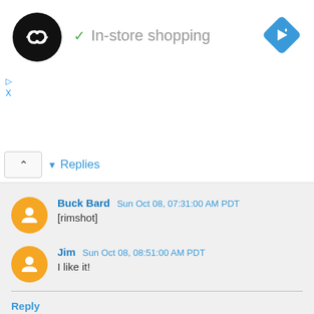[Figure (logo): Black circular logo with white double-arrow infinity symbol]
✓ In-store shopping
[Figure (illustration): Blue diamond navigation/directions icon with white right-turn arrow]
▷
X
▾ Replies
Buck Bard  Sun Oct 08, 07:31:00 AM PDT
[rimshot]
Jim  Sun Oct 08, 08:51:00 AM PDT
I like it!
Reply
zeke creek  Sun Oct 08, 06:14:00 AM PDT
I predict 15 million correct answers
Reply